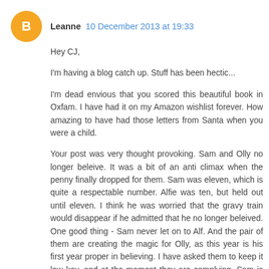Leanne  10 December 2013 at 19:33
Hey CJ,

I'm having a blog catch up. Stuff has been hectic...

I'm dead envious that you scored this beautiful book in Oxfam. I have had it on my Amazon wishlist forever. How amazing to have had those letters from Santa when you were a child.

Your post was very thought provoking. Sam and Olly no longer beleive. It was a bit of an anti climax when the penny finally dropped for them. Sam was eleven, which is quite a respectable number. Alfie was ten, but held out until eleven. I think he was worried that the gravy train would disappear if he admitted that he no longer beleived. One good thing - Sam never let on to Alf. And the pair of them are creating the magic for Olly, as this year is his first year proper in believing. I have asked them to keep it low key, and at the moment they are complying. Sam is really looking forward to Christmas. R...this year because of Olly, the first...